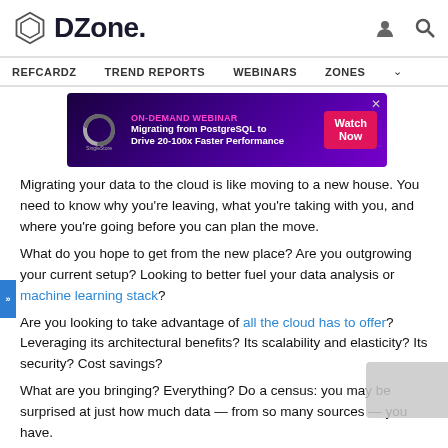DZone — REFCARDZ  TREND REPORTS  WEBINARS  ZONES
[Figure (screenshot): SingleStore ON-DEMAND WEBINAR ad banner: Migrating from PostgreSQL to Drive 20-100x Faster Performance. Watch Now button.]
Migrating your data to the cloud is like moving to a new house. You need to know why you're leaving, what you're taking with you, and where you're going before you can plan the move.
What do you hope to get from the new place? Are you outgrowing your current setup? Looking to better fuel your data analysis or machine learning stack?
Are you looking to take advantage of all the cloud has to offer? Leveraging its architectural benefits? Its scalability and elasticity? Its security? Cost savings?
What are you bringing? Everything? Do a census: you may be surprised at just how much data — from so many sources — you have.
Of course, a move as complicated as that isn't something you start on a